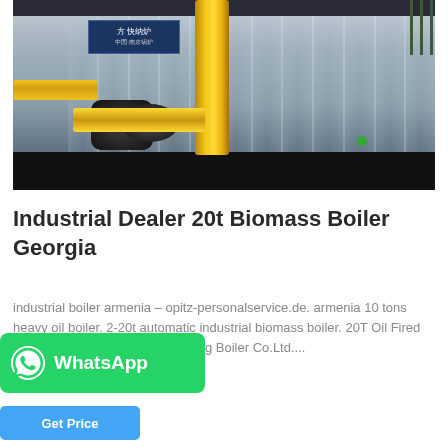[Figure (photo): Industrial biomass boiler with yellow pipes and corrugated metal casing in a factory setting. A sign reading Chinese characters is visible on the blue panel. Yellow gas pipes run vertically and horizontally with a large black connector/valve. Dark base strip at bottom.]
Industrial Dealer 20t Biomass Boiler Georgia
industrial boiler armenia – opitz-personalservice.de. armenia 10 tons heavy oil boiler. 2-20t automatic industrial biomass boiler. 20T Oil Fired Steam Boiler. aterials Wuxi Xineng Boiler Co.Ltd....